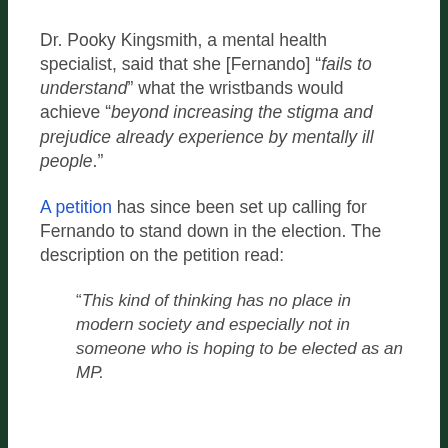Dr. Pooky Kingsmith, a mental health specialist, said that she [Fernando] “fails to understand” what the wristbands would achieve “beyond increasing the stigma and prejudice already experience by mentally ill people.”
A petition has since been set up calling for Fernando to stand down in the election. The description on the petition read:
“This kind of thinking has no place in modern society and especially not in someone who is hoping to be elected as an MP.